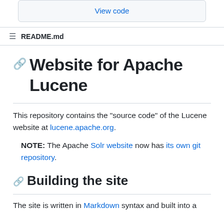View code
README.md
Website for Apache Lucene
This repository contains the "source code" of the Lucene website at lucene.apache.org.
NOTE: The Apache Solr website now has its own git repository.
Building the site
The site is written in Markdown syntax and built into a